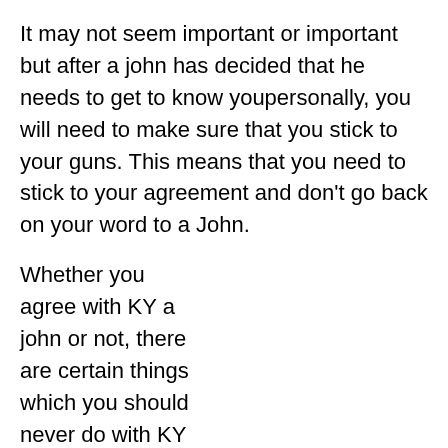It may not seem important or important but after a john has decided that he needs to get to know youpersonally, you will need to make sure that you stick to your guns. This means that you need to stick to your agreement and don't go back on your word to a John.
Whether you agree with KY a john or not, there are certain things which you should never do with KY Back Incall him. The differences between escorts and call girls is an important distinction which plays a key role